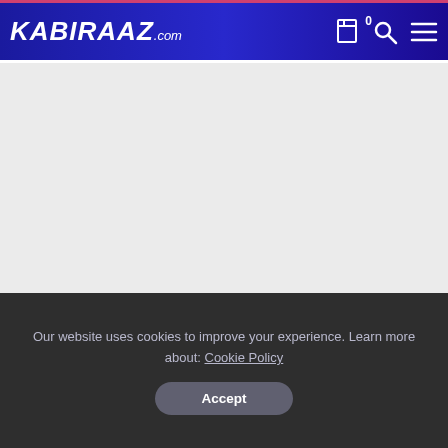KABIRAAZ.com — navigation bar with logo, bookmark icon (0), search icon, and menu icon
[Figure (screenshot): Grey empty content area below the navigation bar]
Our website uses cookies to improve your experience. Learn more about: Cookie Policy
Accept